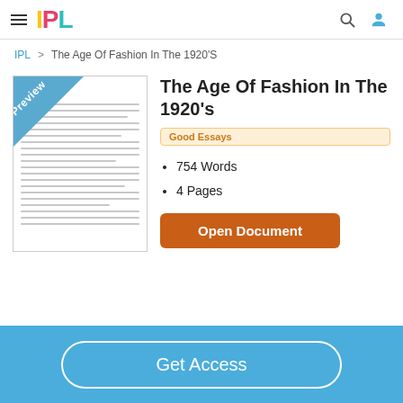IPL
IPL > The Age Of Fashion In The 1920'S
[Figure (illustration): Document preview thumbnail with 'Preview' blue triangle badge in top-left corner and horizontal lines representing text content]
The Age Of Fashion In The 1920's
Good Essays
754 Words
4 Pages
Open Document
Get Access